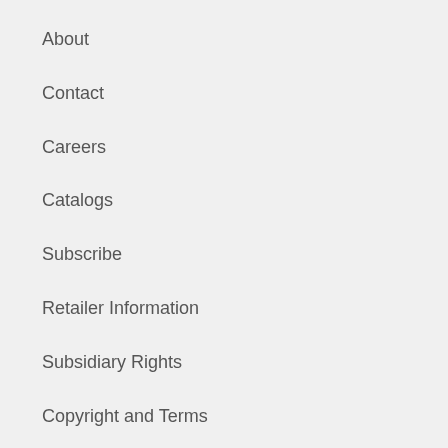About
Contact
Careers
Catalogs
Subscribe
Retailer Information
Subsidiary Rights
Copyright and Terms
Privacy Policy